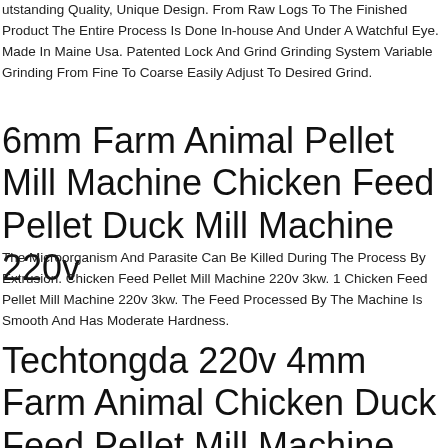utstanding Quality, Unique Design. From Raw Logs To The Finished Product The Entire Process Is Done In-house And Under A Watchful Eye. Made In Maine Usa. Patented Lock And Grind Grinding System Variable Grinding From Fine To Coarse Easily Adjust To Desired Grind.
6mm Farm Animal Pellet Mill Machine Chicken Feed Pellet Duck Mill Machine 220v
The Microorganism And Parasite Can Be Killed During The Process By Extrusion. Chicken Feed Pellet Mill Machine 220v 3kw. 1 Chicken Feed Pellet Mill Machine 220v 3kw. The Feed Processed By The Machine Is Smooth And Has Moderate Hardness.
Techtongda 220v 4mm Farm Animal Chicken Duck Feed Pellet Mill Machine 150kg/h